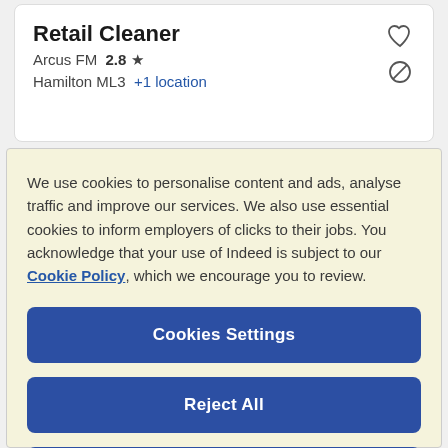Retail Cleaner
Arcus FM  2.8 ★
Hamilton ML3  +1 location
We use cookies to personalise content and ads, analyse traffic and improve our services. We also use essential cookies to inform employers of clicks to their jobs. You acknowledge that your use of Indeed is subject to our Cookie Policy, which we encourage you to review.
Cookies Settings
Reject All
Accept All Cookies